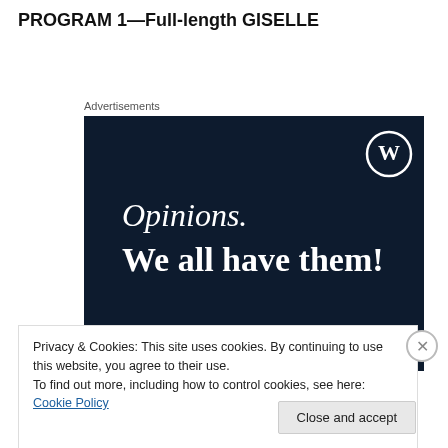PROGRAM 1—Full-length GISELLE
Advertisements
[Figure (screenshot): WordPress advertisement banner with dark navy background. Shows WordPress logo (W in circle) top right. Text reads: 'Opinions. We all have them!' in white serif font. Pink button partially visible at bottom.]
Privacy & Cookies: This site uses cookies. By continuing to use this website, you agree to their use.
To find out more, including how to control cookies, see here: Cookie Policy
Close and accept